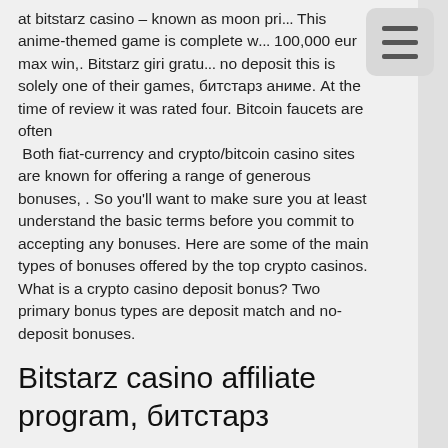at bitstarz casino – known as moon pri... This anime-themed game is complete w... 100,000 eur max win,. Bitstarz giri gratui... no deposit this is solely one of their games, битстарз аниме. At the time of review it was rated four. Bitcoin faucets are often
 Both fiat-currency and crypto/bitcoin casino sites are known for offering a range of generous bonuses, . So you'll want to make sure you at least understand the basic terms before you commit to accepting any bonuses. Here are some of the main types of bonuses offered by the top crypto casinos. What is a crypto casino deposit bonus? Two primary bonus types are deposit match and no-deposit bonuses.
Bitstarz casino affiliate program, битстарз казино регистрация